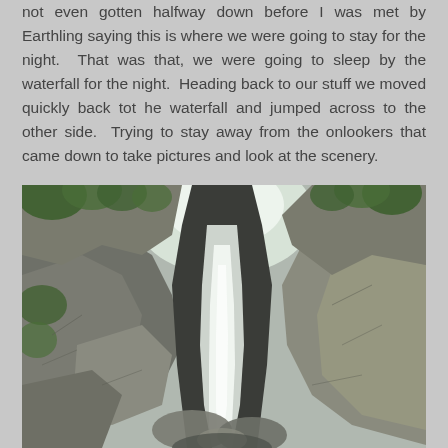not even gotten halfway down before I was met by Earthling saying this is where we were going to stay for the night.  That was that, we were going to sleep by the waterfall for the night.  Heading back to our stuff we moved quickly back tot he waterfall and jumped across to the other side.  Trying to stay away from the onlookers that came down to take pictures and look at the scenery.
[Figure (photo): A waterfall cascading down through a rocky gorge with large boulders on both sides and green trees visible at the top. The water flows in a narrow channel between steep rock faces. Overcast sky visible above.]